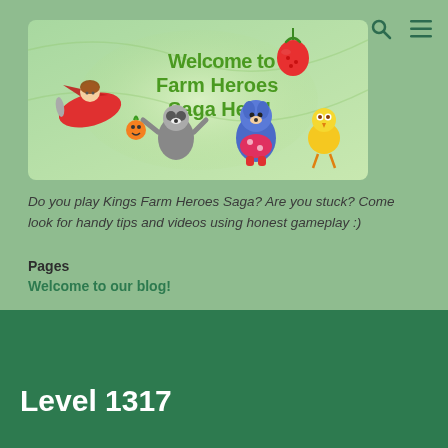[Figure (illustration): Farm Heroes Saga welcome banner with cartoon characters including a girl in a plane, a raccoon, a blue dog, a yellow chick, and a strawberry, with text 'Welcome to Farm Heroes Saga Help!']
Do you play Kings Farm Heroes Saga? Are you stuck? Come look for handy tips and videos using honest gameplay :)
Pages
Welcome to our blog!
Level 1317